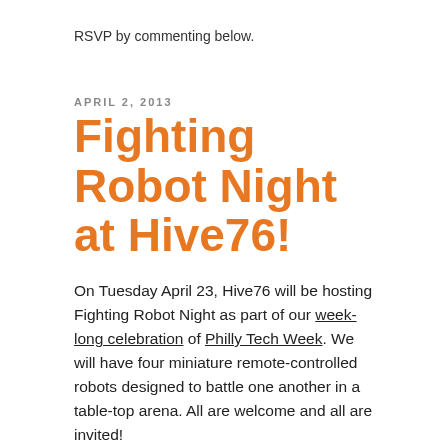RSVP by commenting below.
APRIL 2, 2013
Fighting Robot Night at Hive76!
On Tuesday April 23, Hive76 will be hosting Fighting Robot Night as part of our week-long celebration of Philly Tech Week. We will have four miniature remote-controlled robots designed to battle one another in a table-top arena. All are welcome and all are invited!
Show up Tuesday and sign up for a spot to drive and fight, or just hang out and watch the destruction. Ask questions, check out our space and get your robot rocks off. This will